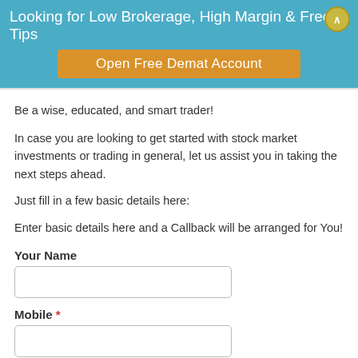Looking for Low Brokerage, High Margin & Free Tips
Open Free Demat Account
Be a wise, educated, and smart trader!
In case you are looking to get started with stock market investments or trading in general, let us assist you in taking the next steps ahead.
Just fill in a few basic details here:
Enter basic details here and a Callback will be arranged for You!
Your Name
Mobile *